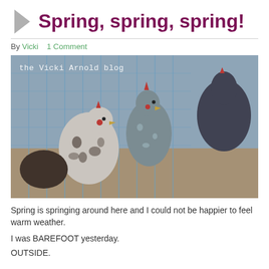Spring, spring, spring!
By Vicki   1 Comment
[Figure (photo): Photo of chickens in a chicken coop behind blue wire fencing. Several chickens are visible; speckled and grey hens in the foreground, darker birds behind. The text 'the Vicki Arnold blog' is overlaid in white handwritten style on the upper left of the photo.]
Spring is springing around here and I could not be happier to feel warm weather.
I was BAREFOOT yesterday.
OUTSIDE.